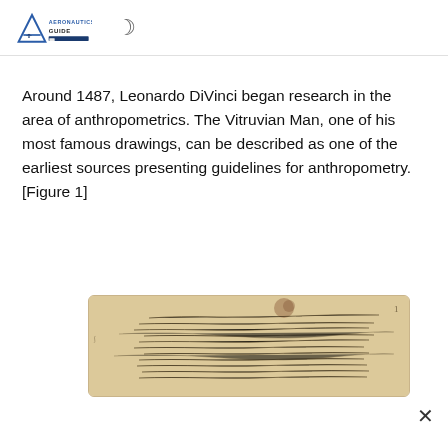AERONAUTICS GUIDE
Around 1487, Leonardo DiVinci began research in the area of anthropometrics. The Vitruvian Man, one of his most famous drawings, can be described as one of the earliest sources presenting guidelines for anthropometry. [Figure 1]
[Figure (photo): A historical manuscript page with handwritten text in an old script, appearing aged with brown/sepia tones, on parchment or old paper.]